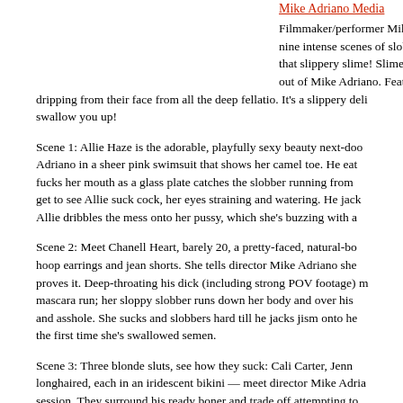Mike Adriano Media
Filmmaker/performer Mike Adriano delivers a collection of nine intense scenes of slobbery face fucking fu... that slippery slime! Slimer's got nothing on the... out of Mike Adriano. Featuring many, many be... dripping from their face from all the deep fellatio. It's a slippery deli... swallow you up!
Scene 1: Allie Haze is the adorable, playfully sexy beauty next-doo... Adriano in a sheer pink swimsuit that shows her camel toe. He eat... fucks her mouth as a glass plate catches the slobber running from... get to see Allie suck cock, her eyes straining and watering. He jack... Allie dribbles the mess onto her pussy, which she's buzzing with a...
Scene 2: Meet Chanell Heart, barely 20, a pretty-faced, natural-bo... hoop earrings and jean shorts. She tells director Mike Adriano she... proves it. Deep-throating his dick (including strong POV footage) m... mascara run; her sloppy slobber runs down her body and over his... and asshole. She sucks and slobbers hard till he jacks jism onto he... the first time she's swallowed semen.
Scene 3: Three blonde sluts, see how they suck: Cali Carter, Jenn... longhaired, each in an iridescent bikini — meet director Mike Adria... session. They surround his ready boner and trade off attempting to... turns out to be the most impressive deep-throater. With one blonde... center sucker blowing cock, the girls create a sloppy, slobbery mes... three, and the ladies slurp the cum mouth-to-mouth-to-mouth.